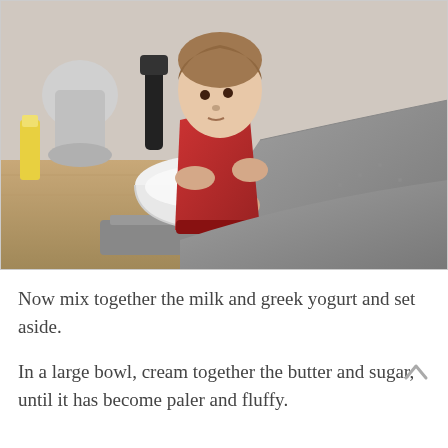[Figure (photo): A child in a red sweater and an adult in a grey knit sweater mixing ingredients in a white bowl on a kitchen counter. Kitchen appliances including a stand mixer and hand mixer are visible in the background on a wooden surface.]
Now mix together the milk and greek yogurt and set aside.
In a large bowl, cream together the butter and sugar, until it has become paler and fluffy.